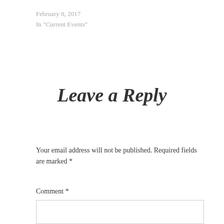February 8, 2017
In "Current Events"
Leave a Reply
Your email address will not be published. Required fields are marked *
Comment *